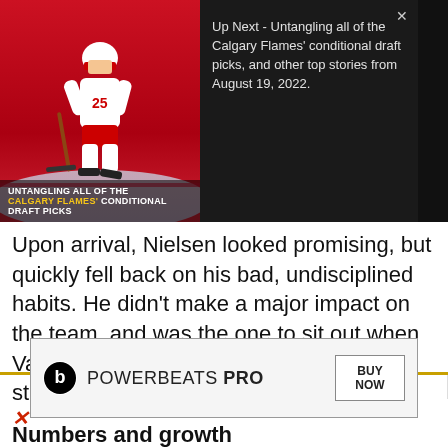[Figure (screenshot): Video player showing hockey player with overlay text: UNTANGLING ALL OF THE CALGARY FLAMES' CONDITIONAL DRAFT PICKS. Ad 1 of 1 (0:30) badge visible.]
Up Next - Untangling all of the Calgary Flames' conditional draft picks, and other top stories from August 19, 2022.
Upon arrival, Nielsen looked promising, but quickly fell back on his bad, undisciplined habits. He didn't make a major impact on the team, and was the one to sit out when Valimaki came down for a conditioning stint.
Numbers and growth
| GP | G | A | P | PRIMARY POINTS |
| --- | --- | --- | --- | --- |
[Figure (screenshot): Powerbeats Pro advertisement banner with Beats logo, text POWERBEATS PRO, and BUY NOW button.]